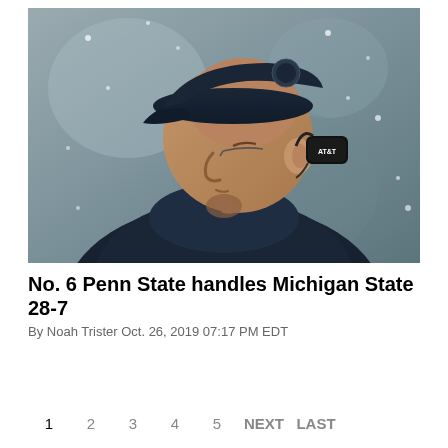[Figure (photo): Close-up profile photo of a football coach wearing a dark navy blue cap and headset (AT&T branded) and navy jacket, looking upward, with snow or rain falling in the background.]
No. 6 Penn State handles Michigan State 28-7
By Noah Trister Oct. 26, 2019 07:17 PM EDT
1  2  3  4  5  NEXT  LAST